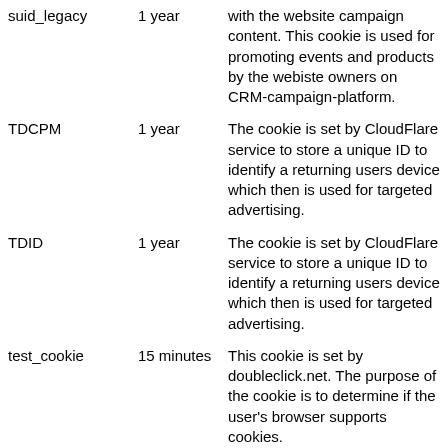| Cookie | Duration | Description |
| --- | --- | --- |
| suid_legacy | 1 year | with the website campaign content. This cookie is used for promoting events and products by the webiste owners on CRM-campaign-platform. |
| TDCPM | 1 year | The cookie is set by CloudFlare service to store a unique ID to identify a returning users device which then is used for targeted advertising. |
| TDID | 1 year | The cookie is set by CloudFlare service to store a unique ID to identify a returning users device which then is used for targeted advertising. |
| test_cookie | 15 minutes | This cookie is set by doubleclick.net. The purpose of the cookie is to determine if the user's browser supports cookies. |
|  |  | This cookie is set by the provider AdRoll.This cookie |